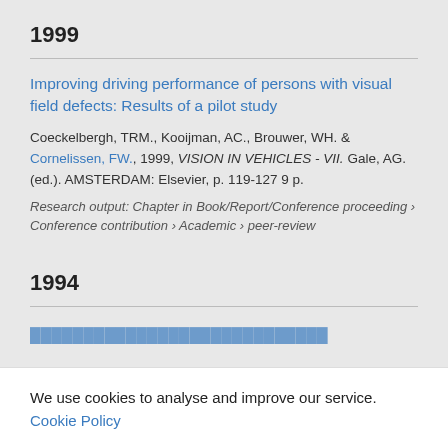1999
Improving driving performance of persons with visual field defects: Results of a pilot study
Coeckelbergh, TRM., Kooijman, AC., Brouwer, WH. & Cornelissen, FW., 1999, VISION IN VEHICLES - VII. Gale, AG. (ed.). AMSTERDAM: Elsevier, p. 119-127 9 p.
Research output: Chapter in Book/Report/Conference proceeding › Conference contribution › Academic › peer-review
1994
We use cookies to analyse and improve our service. Cookie Policy